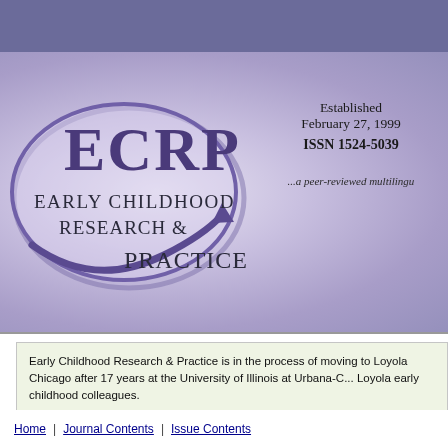[Figure (logo): ECRP Early Childhood Research & Practice logo with oval and arrow]
Established February 27, 1999 ISSN 1524-5039 ...a peer-reviewed multilingu
Early Childhood Research & Practice is in the process of moving to Loyola Chicago after 17 years at the University of Illinois at Urbana-C... Loyola early childhood colleagues. We suggest you visit ECRP's Facebook page for future update...
Home | Journal Contents | Issue Contents